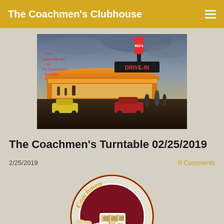The Coachmen's Clubhouse
[Figure (photo): Vintage drive-in restaurant at dusk with neon signs reading DRIVE-IN, retro cars in lot, overlaid text: 'From "Listen with Bill" to The Coachmen's Turntable']
The Coachmen's Turntable 02/25/2019
2/25/2019
0 Comments
[Figure (logo): Circular Coachmen logo: dark red circle with white stagecoach illustration, gold text 'Coachmen' at top, white text 'Manitowoc, Wisconsin' at bottom, 'Est 1959' inside circle]